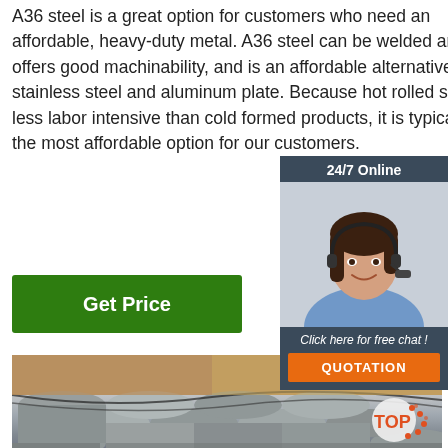A36 steel is a great option for customers who need an affordable, heavy-duty metal. A36 steel can be welded and offers good machinability, and is an affordable alternative to stainless steel and aluminum plate. Because hot rolled steel is less labor intensive than cold formed products, it is typically the most affordable option for our customers.
[Figure (other): Green button labeled 'Get Price']
[Figure (other): 24/7 Online chat widget with a customer service representative photo, text 'Click here for free chat!' and an orange QUOTATION button]
[Figure (photo): Photo of steel round bars/rods stacked together, with a TOP badge overlay in bottom right]